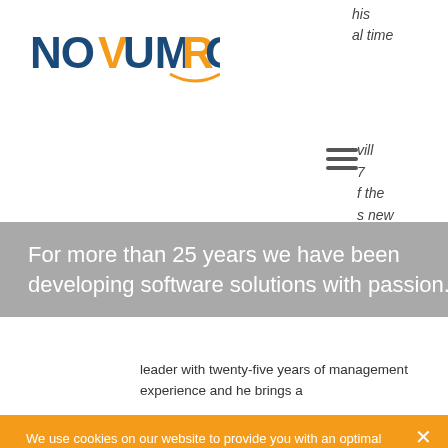[Figure (logo): NovumRGI logo with orange and dark blue text]
his
al time
[Figure (other): Hamburger menu icon (three horizontal lines)]
vill
?
f the
s new
For more than 25 years we have been developing software solutions with passion.
leader with twenty-five years of management experience and he brings a
We use cookies on our website to provide you with an optimal website experience and to understand how you use it. By clicking "Agree", you consent to their use. The consent is voluntary and can be withdrawn at any time.  Privacy Notice
Refuse all
Agree
Cookie Settings